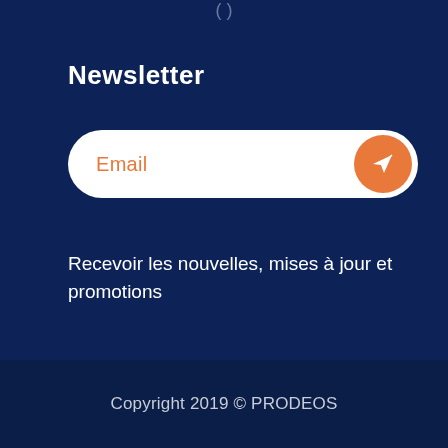Newsletter
[Figure (other): Email input field with orange send button (paper airplane icon) on white rounded pill background]
Recevoir les nouvelles, mises à jour et promotions
Copyright 2019 © PRODEOS